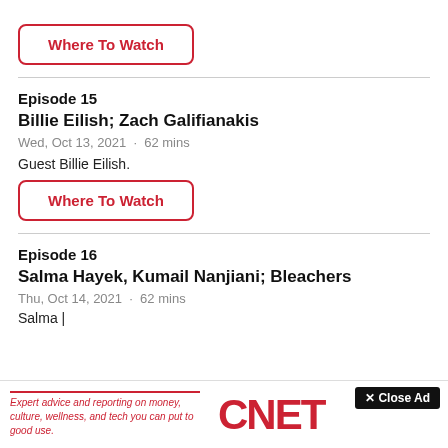Where To Watch
Episode 15
Billie Eilish; Zach Galifianakis
Wed, Oct 13, 2021  ·  62 mins
Guest Billie Eilish.
Where To Watch
Episode 16
Salma Hayek, Kumail Nanjiani; Bleachers
Thu, Oct 14, 2021  ·  62 mins
Salma |
[Figure (screenshot): Advertisement banner with CNET logo and tagline 'Expert advice and reporting on money, culture, wellness, and tech you can put to good use.' with a Close Ad button overlay.]